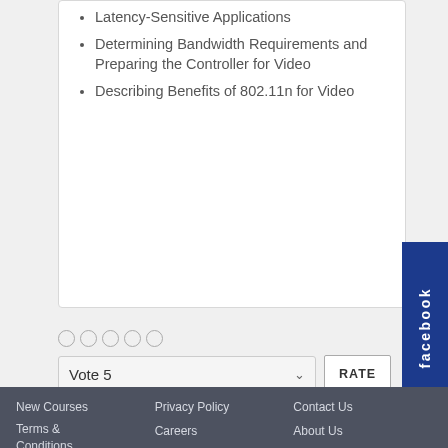Latency-Sensitive Applications
Determining Bandwidth Requirements and Preparing the Controller for Video
Describing Benefits of 802.11n for Video
Vote 5
New Courses  Privacy Policy  Contact Us  Terms & Conditions  Careers  About Us
Copyright © 2022 Talent Professional Services. All Rights Reserved.